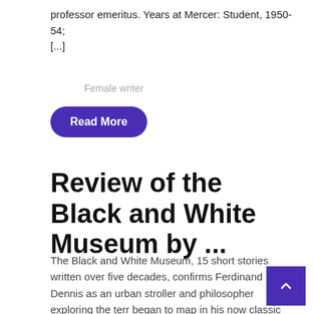professor emeritus. Years at Mercer: Student, 1950-54; [...]
Female writer
Read More
Review of the Black and White Museum by ...
The Black and White Museum, 15 short stories written over five decades, confirms Ferdinand Dennis as an urban stroller and philosopher exploring the terr began to map in his now classic novels. The ep Duppy Conqueror (1998), artfully republished by Small